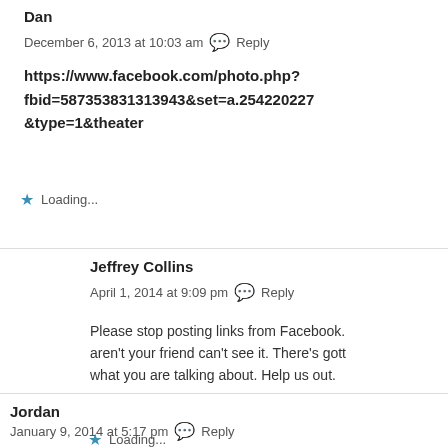Dan
December 6, 2013 at 10:03 am  Reply
https://www.facebook.com/photo.php?fbid=587353831313943&set=a.254220227&type=1&theater
Loading...
Jeffrey Collins
April 1, 2014 at 9:09 pm  Reply
Please stop posting links from Facebook. aren't your friend can't see it. There's gott what you are talking about. Help us out.
Loading...
Jordan
January 9, 2014 at 5:17 pm  Reply